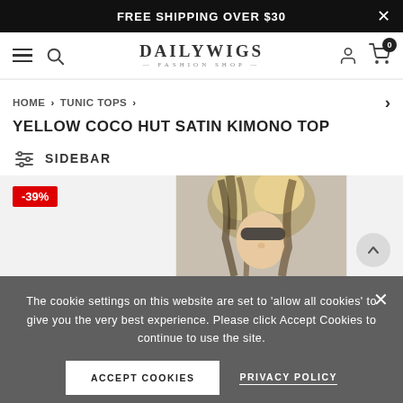FREE SHIPPING OVER $30
[Figure (screenshot): DailyWigs Fashion Shop navigation bar with hamburger menu, search icon, logo, account icon, and cart icon showing 0 items]
HOME > TUNIC TOPS >
YELLOW COCO HUT SATIN KIMONO TOP
SIDEBAR
[Figure (photo): Product image showing model with blonde highlighted hair, -39% discount badge visible]
The cookie settings on this website are set to 'allow all cookies' to give you the very best experience. Please click Accept Cookies to continue to use the site.